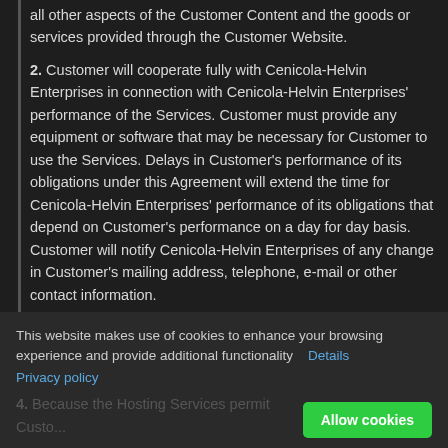all other aspects of the Customer Content and the goods or services provided through the Customer Website.
2. Customer will cooperate fully with Cenicola-Helvin Enterprises in connection with Cenicola-Helvin Enterprises' performance of the Services. Customer must provide any equipment or software that may be necessary for Customer to use the Services. Delays in Customer's performance of its obligations under this Agreement will extend the time for Cenicola-Helvin Enterprises' performance of its obligations that depend on Customer's performance on a day for day basis. Customer will notify Cenicola-Helvin Enterprises of any change in Customer's mailing address, telephone, e-mail or other contact information.
3. Customer assumes full responsibility for providing End Users with any required disclosure or explanation of the various features
This website makes use of cookies to enhance your browsing experience and provide additional functionality   Details
Privacy policy
4. Because the Hosting Services permit Custo...